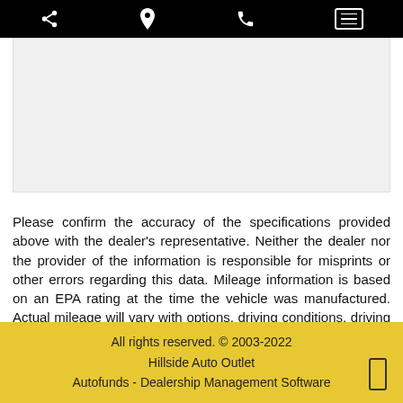Navigation bar with share, location, phone, and menu icons
[Figure (photo): White/grey blank image placeholder area]
Please confirm the accuracy of the specifications provided above with the dealer's representative. Neither the dealer nor the provider of the information is responsible for misprints or other errors regarding this data. Mileage information is based on an EPA rating at the time the vehicle was manufactured. Actual mileage will vary with options, driving conditions, driving habits, and vehicle's condition.
All rights reserved. © 2003-2022
Hillside Auto Outlet
Autofunds - Dealership Management Software